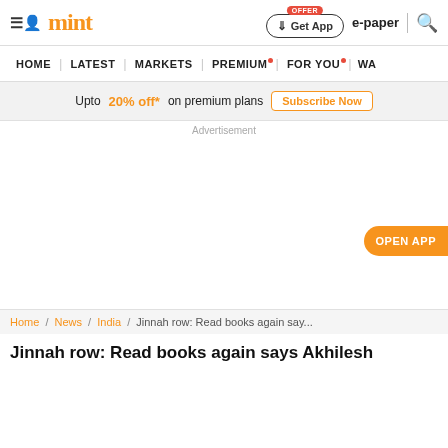mint | Get App | e-paper
HOME | LATEST | MARKETS | PREMIUM | FOR YOU | WA
Upto 20% off* on premium plans  Subscribe Now
Advertisement
OPEN APP
Home / News / India / Jinnah row: Read books again say...
Jinnah row: Read books again says Akhilesh